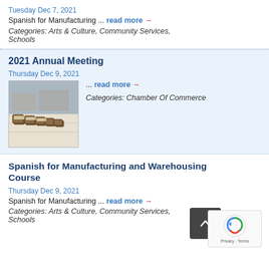Tuesday Dec 7, 2021
Spanish for Manufacturing ... read more →
Categories: Arts & Culture, Community Services, Schools
2021 Annual Meeting
Thursday Dec 9, 2021
[Figure (photo): Photo of boxed items on a table at an annual meeting event]
... read more →
Categories: Chamber Of Commerce
Spanish for Manufacturing and Warehousing Course
Thursday Dec 9, 2021
Spanish for Manufacturing ... read more →
Categories: Arts & Culture, Community Services, Schools